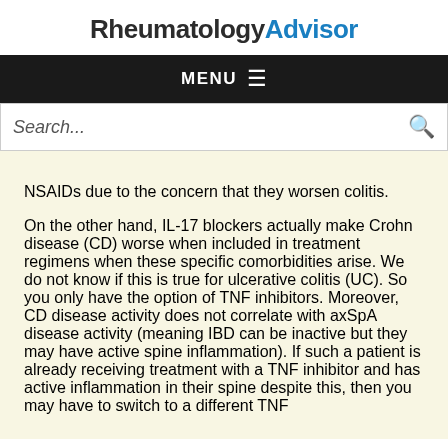RheumatologyAdvisor
MENU
Search...
NSAIDs due to the concern that they worsen colitis.

On the other hand, IL-17 blockers actually make Crohn disease (CD) worse when included in treatment regimens when these specific comorbidities arise. We do not know if this is true for ulcerative colitis (UC). So you only have the option of TNF inhibitors. Moreover, CD disease activity does not correlate with axSpA disease activity (meaning IBD can be inactive but they may have active spine inflammation). If such a patient is already receiving treatment with a TNF inhibitor and has active inflammation in their spine despite this, then you may have to switch to a different TNF